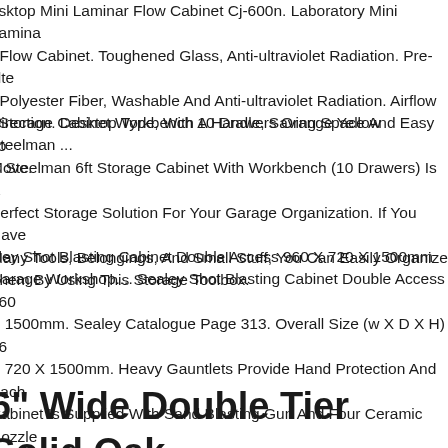esktop Mini Laminar Flow Cabinet Cj-600n. Laboratory Mini Laminar Flow Cabinet. Toughened Glass, Anti-ultraviolet Radiation. Pre-filter Polyester Fiber, Washable And Anti-ultraviolet Radiation. Airflow Direction. Desktop Type, With A Handle, Saving Space And Easy To Move.
t Storage Cabinet Workbench 10 Drawers Orange Yellow Steelman ... is Steelman 6ft Storage Cabinet With Workbench (10 Drawers) Is A Perfect Storage Solution For Your Garage Organization. If You Have Many Tools, Belongings, And Small Stuff, You Can Easily Organize Them By Using This Storage Toolbox.
aley Shot Blasting Cabinet Double Access 960 X 720 X 1500mm Garage Workshop.... Sealey Shot Blasting Cabinet Double Access 960 X 1500mm. Sealey Catalogue Page 313. Overall Size (w X D X H) 960 X 720 X 1500mm. Heavy Gauntlets Provide Hand Protection And Each Cabinet Is Supplied With Sand Blasting Gun And Four Ceramic Nozzles
6" Wide Double Tier Solid Oak